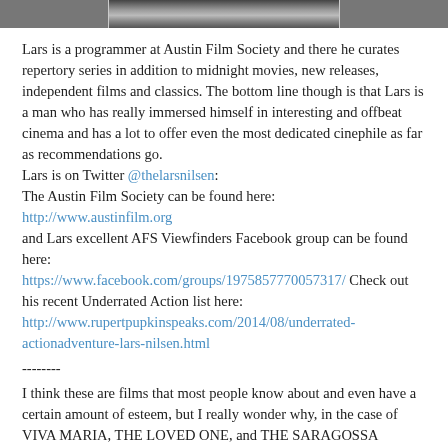[Figure (photo): Black and white photo strip showing partial faces, cropped at top of page]
Lars is a programmer at Austin Film Society and there he curates repertory series in addition to midnight movies, new releases, independent films and classics. The bottom line though is that Lars is a man who has really immersed himself in interesting and offbeat cinema and has a lot to offer even the most dedicated cinephile as far as recommendations go.
Lars is on Twitter @thelarsnilsen:
The Austin Film Society can be found here:
http://www.austinfilm.org
and Lars excellent AFS Viewfinders Facebook group can be found here:
https://www.facebook.com/groups/1975857770057317/ Check out his recent Underrated Action list here:
http://www.rupertpupkinspeaks.com/2014/08/underrated-actionadventure-lars-nilsen.html
--------
I think these are films that most people know about and even have a certain amount of esteem, but I really wonder why, in the case of VIVA MARIA, THE LOVED ONE, and THE SARAGOSSA MANUSCRIPT especially, people aren't freaking out about these movies all the time. '65 was a GREAT year, and a really